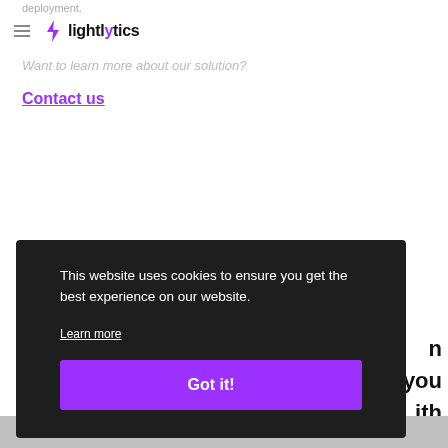deployment.
lightlytics (logo with bolt icon)
Want to learn more about our solution?
Contact us
This website uses cookies to ensure you get the best experience on our website.
Learn more
Got it!